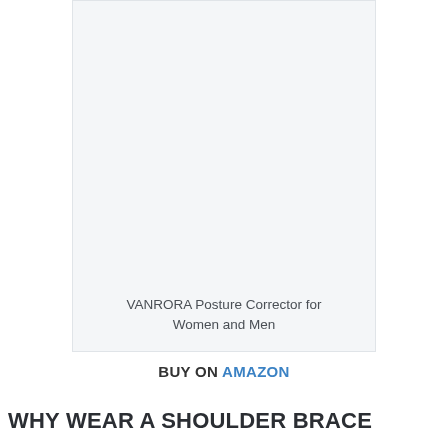[Figure (photo): Product image box for VANRORA Posture Corrector for Women and Men — light gray rectangular area with product name caption at the bottom]
VANRORA Posture Corrector for Women and Men
BUY ON AMAZON
WHY WEAR A SHOULDER BRACE